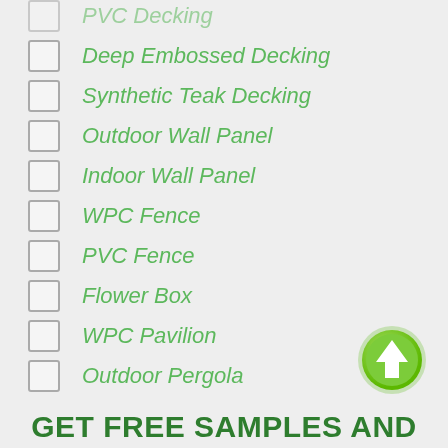PVC Decking
Deep Embossed Decking
Synthetic Teak Decking
Outdoor Wall Panel
Indoor Wall Panel
WPC Fence
PVC Fence
Flower Box
WPC Pavilion
Outdoor Pergola
[Figure (illustration): Green circular up-arrow button]
GET FREE SAMPLES AND